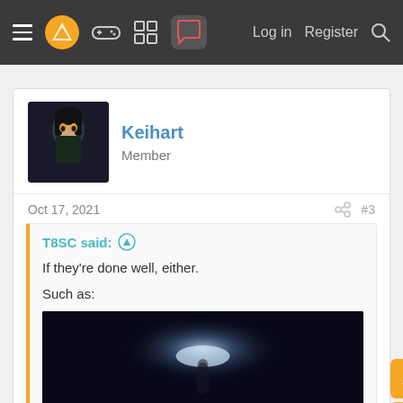≡  [logo]  [gamepad icon]  [grid icon]  [chat icon active]    Log in   Register  🔍
Keihart
Member
Oct 17, 2021   #3
T8SC said: ↑

If they're done well, either.

Such as:

[image] Click to expand...
Now, now. You are complaining about translation, CC are technically subs and would require some effort to fuck up.